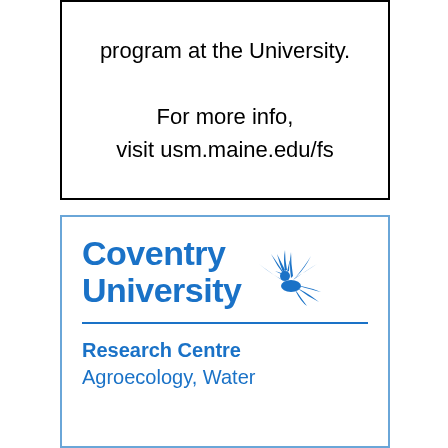program at the University.

For more info, visit usm.maine.edu/fs
[Figure (logo): Coventry University logo with phoenix bird emblem and text 'Research Centre Agroecology, Water' in blue]